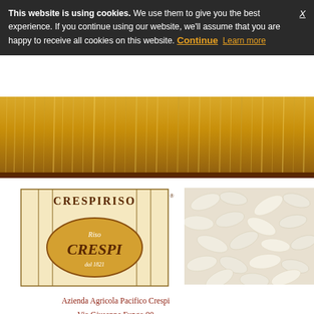This website is using cookies. We use them to give you the best experience. If you continue using our website, we'll assume that you are happy to receive all cookies on this website. Continue  Learn more
[Figure (photo): Golden wheat or rice field, top banner photo]
[Figure (logo): Crespiriso / Riso Crespi dal 1821 company logo with oval grain shape]
Azienda Agricola Pacifico Crespi
Via Giuseppe Fungo 90
28060 Nibbia (NO) Italy
Tel: +39 0321 57216
Fax: +39 0321 57216
e-mail: info@crespiriso.com
Italy
[Figure (photo): Close-up photo of white rice grains]
Order Online | Rice | Rice-based Specialities | Risotti | R...